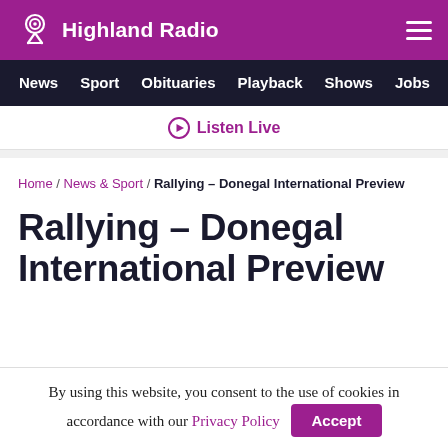Highland Radio
News | Sport | Obituaries | Playback | Shows | Jobs
Listen Live
Home / News & Sport / Rallying – Donegal International Preview
Rallying – Donegal International Preview
By using this website, you consent to the use of cookies in accordance with our Privacy Policy